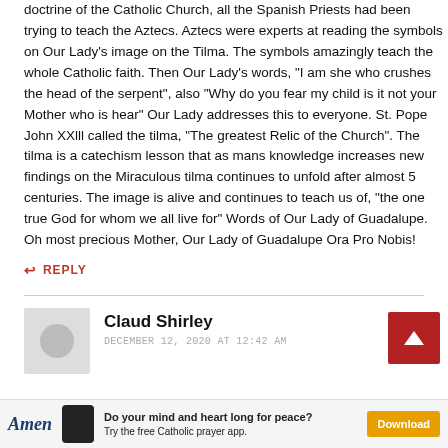doctrine of the Catholic Church, all the Spanish Priests had been trying to teach the Aztecs. Aztecs were experts at reading the symbols on Our Lady's image on the Tilma. The symbols amazingly teach the whole Catholic faith. Then Our Lady's words, "I am she who crushes the head of the serpent", also "Why do you fear my child is it not your Mother who is hear" Our Lady addresses this to everyone. St. Pope John XXlll called the tilma, "The greatest Relic of the Church". The tilma is a catechism lesson that as mans knowledge increases new findings on the Miraculous tilma continues to unfold after almost 5 centuries. The image is alive and continues to teach us of, "the one true God for whom we all live for" Words of Our Lady of Guadalupe. Oh most precious Mother, Our Lady of Guadalupe Ora Pro Nobis!
↩ REPLY
Claud Shirley